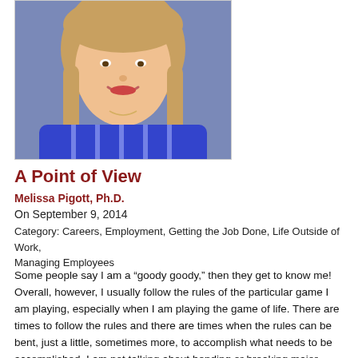[Figure (photo): Headshot portrait of a woman with long blonde hair wearing a blue striped shirt, smiling at camera against a gray background.]
A Point of View
Melissa Pigott, Ph.D.
On September 9, 2014
Category: Careers, Employment, Getting the Job Done, Life Outside of Work, Managing Employees
Some people say I am a “goody goody,” then they get to know me! Overall, however, I usually follow the rules of the particular game I am playing, especially when I am playing the game of life. There are times to follow the rules and there are times when the rules can be bent, just a little, sometimes more, to accomplish what needs to be accomplished. I am not talking about bending or breaking major rules, but sometimes, we